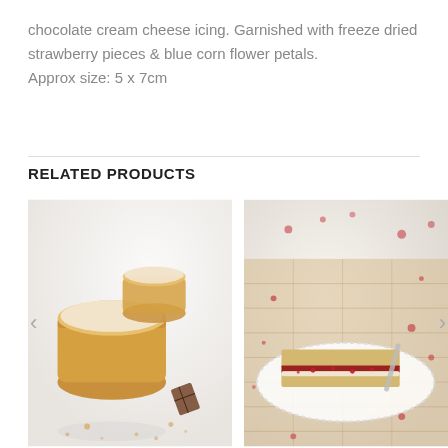chocolate cream cheese icing. Garnished with freeze dried strawberry pieces & blue corn flower petals.
Approx size: 5 x 7cm
RELATED PRODUCTS
[Figure (photo): Close-up photo of small round powdered sugar cakes/financiers on a white surface with a chocolate piece nearby and crumbs scattered around]
[Figure (photo): Close-up photo of a rectangular layered cake slice with red berry jam filling and powdered sugar topping with red sprinkles, on a white doily on a wooden board]